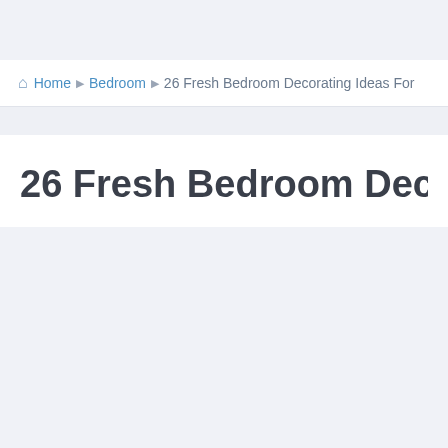Home ▶ Bedroom ▶ 26 Fresh Bedroom Decorating Ideas For
26 Fresh Bedroom Decorating Ideas For